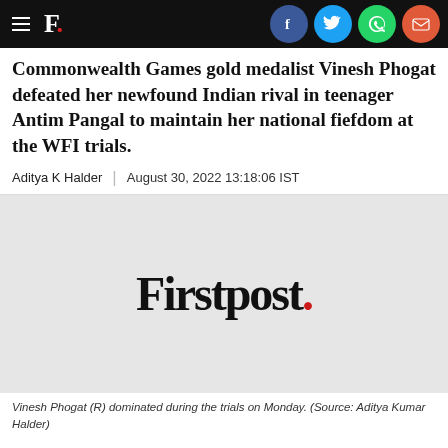Firstpost.
Commonwealth Games gold medalist Vinesh Phogat defeated her newfound Indian rival in teenager Antim Pangal to maintain her national fiefdom at the WFI trials.
Aditya K Halder | August 30, 2022 13:18:06 IST
[Figure (logo): Firstpost logo — wordmark in black serif with a red dot at the end]
Vinesh Phogat (R) dominated during the trials on Monday. (Source: Aditya Kumar Halder)